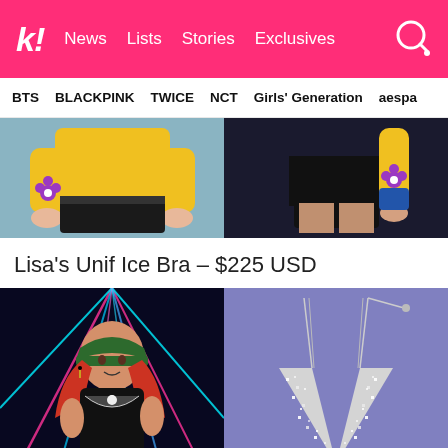k! News | Lists | Stories | Exclusives
BTS | BLACKPINK | TWICE | NCT | Girls' Generation | aespa
[Figure (photo): Two-panel image: left panel shows a person wearing a yellow top with a purple flower design on the arm, black shorts, performing; right panel shows close-up of black mini skirt with yellow sleeve and purple flower arm tattoo/design]
Lisa's Unif Ice Bra – $225 USD
[Figure (photo): Two-panel image: left panel shows Lisa with red hair, green cap, dark outfit with star necklace performing in front of neon laser light show; right panel shows a silver/crystal rhinestone bra top on a purple/lavender background]